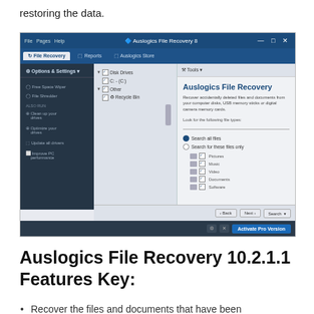restoring the data.
[Figure (screenshot): Screenshot of Auslogics File Recovery 8 application showing the main interface with left sidebar navigation (Options & Settings, Free Space Wiper, File Shredder, Also run: Clean up your drives, Optimize your drives, Update all drivers, Improve PC performance), a center tree panel showing Disk Drives and Other/Recycle Bin with checkboxes, and a right panel with Auslogics File Recovery branding, description text, Look for the following file types field, Search all files / Search for these files only radio options, file type checkboxes (Pictures, Music, Video, Documents, Software), and Back/Next/Search buttons at the bottom. filehorse.com watermark visible.]
Auslogics File Recovery 10.2.1.1 Features Key:
Recover the files and documents that have been